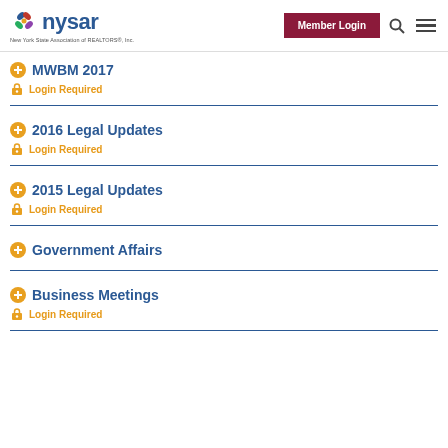nysar | New York State Association of REALTORS®, Inc. | Member Login
MWBM 2017 | Login Required
2016 Legal Updates | Login Required
2015 Legal Updates | Login Required
Government Affairs
Business Meetings | Login Required